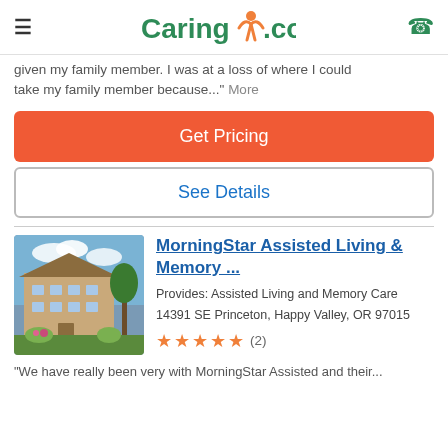Caring.com
given my family member. I was at a loss of where I could take my family member because..." More
Get Pricing
See Details
[Figure (photo): Exterior photo of MorningStar Assisted Living facility showing a multi-story tan building with trees and landscaping under a blue sky]
MorningStar Assisted Living & Memory ...
Provides: Assisted Living and Memory Care
14391 SE Princeton, Happy Valley, OR 97015
★★★★★ (2)
"We have really been very with MorningStar Assisted and their...